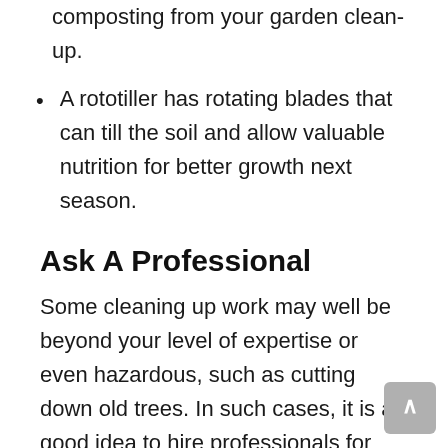A rototiller has rotating blades that can till the soil and allow valuable nutrition for better growth next season.
Ask A Professional
Some cleaning up work may well be beyond your level of expertise or even hazardous, such as cutting down old trees. In such cases, it is a good idea to hire professionals for help. This also applies if you are too busy and can't spend your personal time on this time-consuming task.